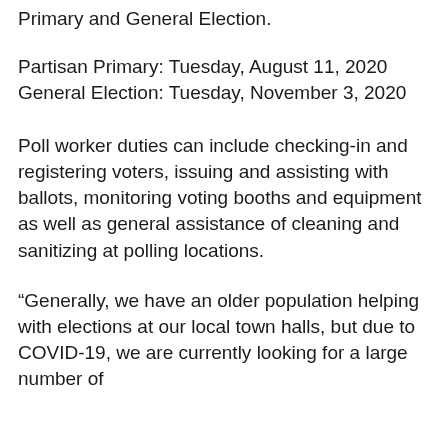Primary and General Election.
Partisan Primary: Tuesday, August 11, 2020
General Election: Tuesday, November 3, 2020
Poll worker duties can include checking-in and registering voters, issuing and assisting with ballots, monitoring voting booths and equipment as well as general assistance of cleaning and sanitizing at polling locations.
“Generally, we have an older population helping with elections at our local town halls, but due to COVID-19, we are currently looking for a large number of